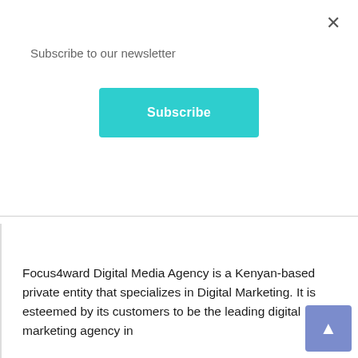×
Subscribe to our newsletter
Subscribe
Focus4ward Digital Media Agency is a Kenyan-based private entity that specializes in Digital Marketing. It is esteemed by its customers to be the leading digital marketing agency in